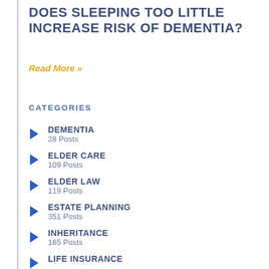DOES SLEEPING TOO LITTLE INCREASE RISK OF DEMENTIA?
Read More »
CATEGORIES
DEMENTIA
28 Posts
ELDER CARE
109 Posts
ELDER LAW
119 Posts
ESTATE PLANNING
351 Posts
INHERITANCE
165 Posts
LIFE INSURANCE